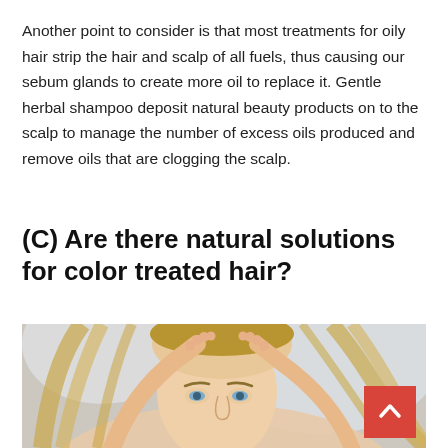Another point to consider is that most treatments for oily hair strip the hair and scalp of all fuels, thus causing our sebum glands to create more oil to replace it. Gentle herbal shampoo deposit natural beauty products on to the scalp to manage the number of excess oils produced and remove oils that are clogging the scalp.
(C) Are there natural solutions for color treated hair?
[Figure (photo): A woman with blonde hair using both hands to examine or scratch her scalp, viewed from slightly below, with a blurred light background.]